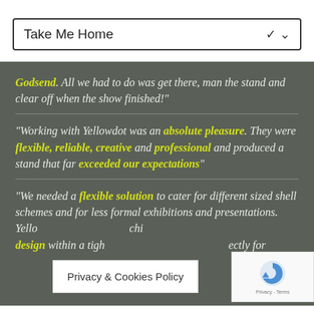Take Me Home (dropdown)
Godsend. All we had to do was get there, man the stand and clear off when the show finished!
"Working with Yellowdot was an absolute pleasure. They were flexible, reliable, creative and professional and produced a stand that far exceeded our expectations"
"We needed a flexible solution to cater for different sized shell schemes and for less formal exhibitions and presentations. Yello... [design] within a tigh... ectly for
Privacy & Cookies Policy